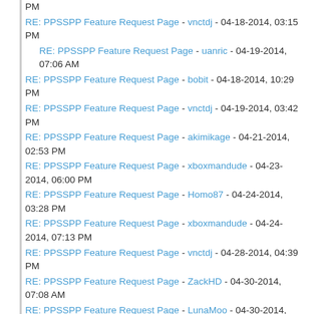RE: PPSSPP Feature Request Page - vnctdj - 04-18-2014, 03:15 PM
RE: PPSSPP Feature Request Page - uanric - 04-19-2014, 07:06 AM
RE: PPSSPP Feature Request Page - bobit - 04-18-2014, 10:29 PM
RE: PPSSPP Feature Request Page - vnctdj - 04-19-2014, 03:42 PM
RE: PPSSPP Feature Request Page - akimikage - 04-21-2014, 02:53 PM
RE: PPSSPP Feature Request Page - xboxmandude - 04-23-2014, 06:00 PM
RE: PPSSPP Feature Request Page - Homo87 - 04-24-2014, 03:28 PM
RE: PPSSPP Feature Request Page - xboxmandude - 04-24-2014, 07:13 PM
RE: PPSSPP Feature Request Page - vnctdj - 04-28-2014, 04:39 PM
RE: PPSSPP Feature Request Page - ZackHD - 04-30-2014, 07:08 AM
RE: PPSSPP Feature Request Page - LunaMoo - 04-30-2014, 09:06 AM
RE: PPSSPP Feature Request Page - Nezarn - 05-01-2014, 07:59 AM
RE: PPSSPP Feature Request Page - FieryReign - 05-03-2014, 11:55 PM
RE: PPSSPP Feature Request Page - bobit - 05-05-2014, 09:19 PM
RE: PPSSPP Feature Request Page - TheDax - 05-06-2014, 01:58 AM
RE: PPSSPP Feature Request Page - vnctdj - 05-07-2014, 02:59 PM
RE: PPSSPP Feature Request Page - Noval Labib - 05-09-2014, 03:51 AM